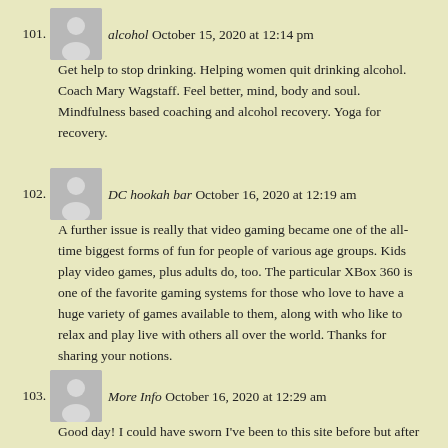101. alcohol October 15, 2020 at 12:14 pm
Get help to stop drinking. Helping women quit drinking alcohol. Coach Mary Wagstaff. Feel better, mind, body and soul. Mindfulness based coaching and alcohol recovery. Yoga for recovery.
102. DC hookah bar October 16, 2020 at 12:19 am
A further issue is really that video gaming became one of the all-time biggest forms of fun for people of various age groups. Kids play video games, plus adults do, too. The particular XBox 360 is one of the favorite gaming systems for those who love to have a huge variety of games available to them, along with who like to relax and play live with others all over the world. Thanks for sharing your notions.
103. More Info October 16, 2020 at 12:29 am
Good day! I could have sworn I've been to this site before but after reading through some of the post I realized it's new to me.